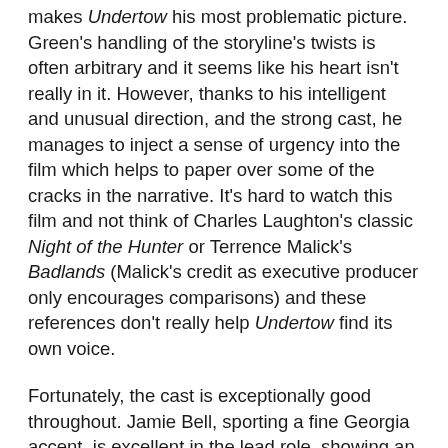makes Undertow his most problematic picture. Green's handling of the storyline's twists is often arbitrary and it seems like his heart isn't really in it. However, thanks to his intelligent and unusual direction, and the strong cast, he manages to inject a sense of urgency into the film which helps to paper over some of the cracks in the narrative. It's hard to watch this film and not think of Charles Laughton's classic Night of the Hunter or Terrence Malick's Badlands (Malick's credit as executive producer only encourages comparisons) and these references don't really help Undertow find its own voice.
Fortunately, the cast is exceptionally good throughout. Jamie Bell, sporting a fine Georgia accent, is excellent in the lead role, showing an impressive range and comfortably carrying the film. It's a performance which should help him break out of the shadow of Billy Elliot once and for all. Also on fine form is Josh Lucas whose Deel first appears as a charismatic and mysterious character before showing his true colours and becoming a genuinely threatening villain. Lucas's confident demeanour and shark-like grin has never been put to such good use. The rest of the actors are strong